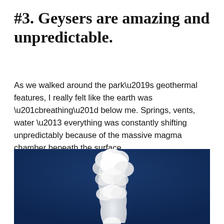#3. Geysers are amazing and unpredictable.
As we walked around the park’s geothermal features, I really felt like the earth was “breathing” below me. Springs, vents, water – everything was constantly shifting unpredictably because of the massive magma chamber beneath the surface.
[Figure (photo): A geyser erupting against a deep blue sky, with a billowing white column of steam rising upward.]